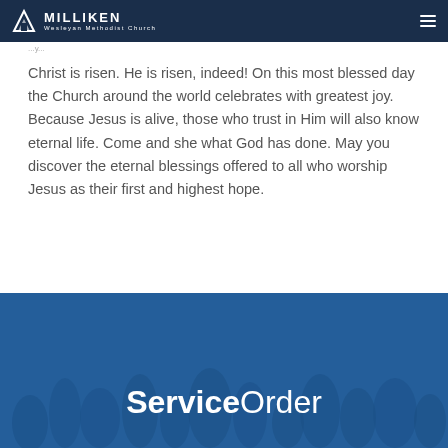Milliken Wesleyan Methodist Church
Christ is risen. He is risen, indeed! On this most blessed day the Church around the world celebrates with greatest joy. Because Jesus is alive, those who trust in Him will also know eternal life. Come and she what God has done. May you discover the eternal blessings offered to all who worship Jesus as their first and highest hope.
[Figure (photo): Bottom banner with a blue-tinted crowd photo background and the text 'ServiceOrder' centered in white over it.]